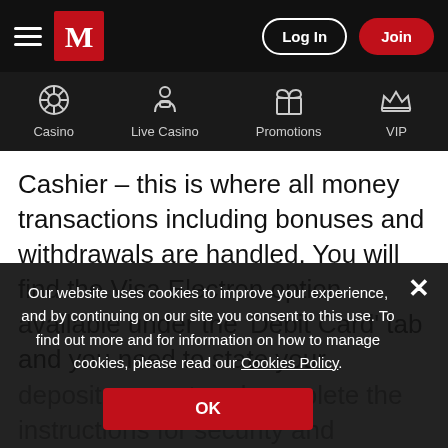Log In | Join
[Figure (screenshot): Navigation bar with Casino, Live Casino, Promotions, VIP icons on dark background]
Cashier – this is where all money transactions including bonuses and withdrawals are handled. You will find the Visa Electron option available under the 'Debit Card' tab and you need to state your deposit amount and complete the instructions for security and verification. The funds added to your casino bankroll must be available in your bank account on to clear; once you see your bankroll has funds the
Our website uses cookies to improve your experience, and by continuing on our site you consent to this use. To find out more and for information on how to manage cookies, please read our Cookies Policy.